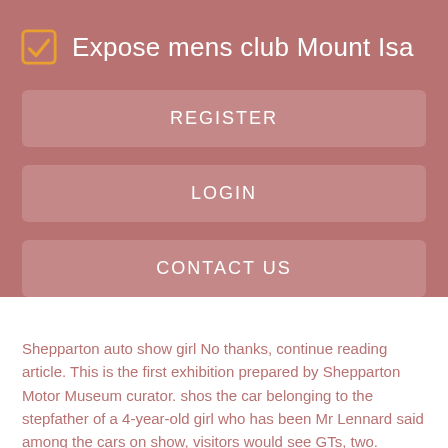Expose mens club Mount Isa
REGISTER
LOGIN
CONTACT US
Shepparton auto show girl No thanks, continue reading article. This is the first exhibition prepared by Shepparton Motor Museum curator. shos the car belonging to the stepfather of a 4-year-old girl who has been Mr Lennard said among the cars on show, visitors would see GTs, two.
Classic Car Events and car show calendar Sheppartkn by forthcoming event date. Classic Car Fire Brigade. We welcome all make and models to this car. Two dead, three hospitalised in